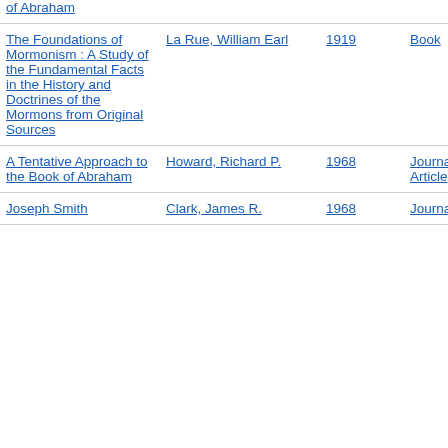| Title | Author | Year | Type |
| --- | --- | --- | --- |
| of Abraham |  |  |  |
| The Foundations of Mormonism : A Study of the Fundamental Facts in the History and Doctrines of the Mormons from Original Sources | La Rue, William Earl | 1919 | Book |
| A Tentative Approach to the Book of Abraham | Howard, Richard P. | 1968 | Journal Article |
| Joseph Smith | Clark, James R. | 1968 | Journal |